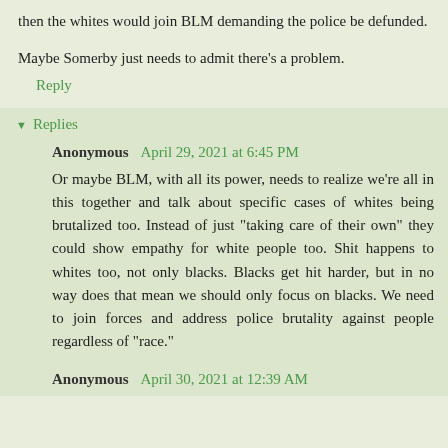then the whites would join BLM demanding the police be defunded.
Maybe Somerby just needs to admit there’s a problem.
Reply
Replies
Anonymous April 29, 2021 at 6:45 PM
Or maybe BLM, with all its power, needs to realize we're all in this together and talk about specific cases of whites being brutalized too. Instead of just "taking care of their own" they could show empathy for white people too. Shit happens to whites too, not only blacks. Blacks get hit harder, but in no way does that mean we should only focus on blacks. We need to join forces and address police brutality against people regardless of "race."
Anonymous April 30, 2021 at 12:39 AM